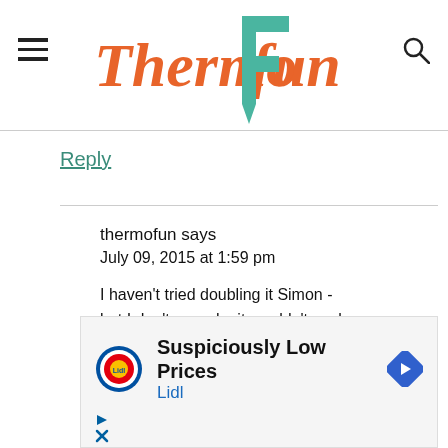ThermoFun
Reply
thermofun says
July 09, 2015 at 1:59 pm

I haven't tried doubling it Simon - but I don't see why it wouldn't work. I would suggest for this recipe stick
[Figure (screenshot): Advertisement banner for Lidl: 'Suspiciously Low Prices / Lidl' with Lidl logo and navigation arrow icon]